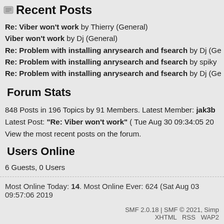Recent Posts
Re: Viber won't work by Thierry (General)
Viber won't work by Dj (General)
Re: Problem with installing anrysearch and fsearch by Dj (Ge…
Re: Problem with installing anrysearch and fsearch by spiky…
Re: Problem with installing anrysearch and fsearch by Dj (Ge…
Forum Stats
848 Posts in 196 Topics by 91 Members. Latest Member: jak3b
Latest Post: "Re: Viber won't work" ( Tue Aug 30 09:34:05 20…
View the most recent posts on the forum.
Users Online
6 Guests, 0 Users
Most Online Today: 14. Most Online Ever: 624 (Sat Aug 03 09:57:06 2019)
SMF 2.0.18 | SMF © 2021, Simp
XHTML  RSS  WAP2